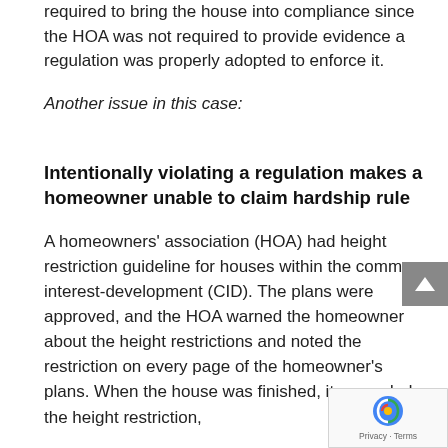required to bring the house into compliance since the HOA was not required to provide evidence a regulation was properly adopted to enforce it.
Another issue in this case:
Intentionally violating a regulation makes a homeowner unable to claim hardship rule
A homeowners' association (HOA) had height restriction guideline for houses within the common-interest-development (CID). The plans were approved, and the HOA warned the homeowner about the height restrictions and noted the restriction on every page of the homeowner's plans. When the house was finished, it exceeded the height restriction,